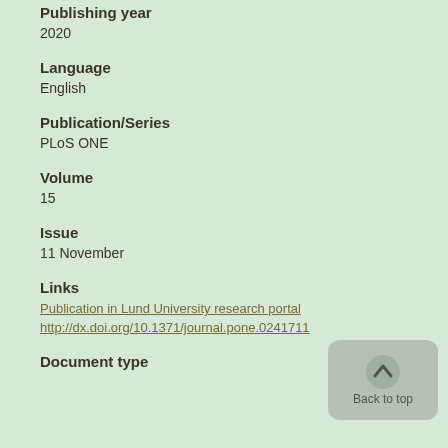Publishing year
2020
Language
English
Publication/Series
PLoS ONE
Volume
15
Issue
11 November
Links
Publication in Lund University research portal
http://dx.doi.org/10.1371/journal.pone.0241711
Document type